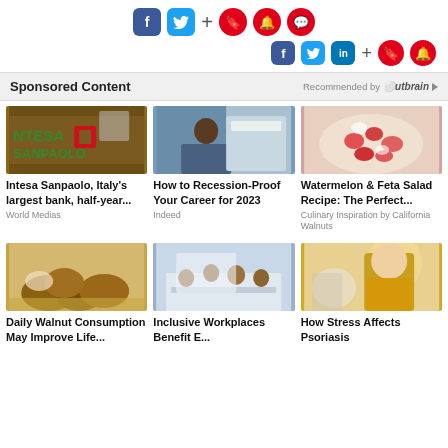[Figure (infographic): Social media sharing icons row 1: Facebook (blue square), Twitter (cyan square), plus sign, red circle bookmark, red circle bell, red circle chat]
[Figure (infographic): Social media sharing icons row 2: Facebook (blue square), Twitter (cyan square), LinkedIn (blue square), plus sign, red circle bookmark, red circle bell]
Sponsored Content
Recommended by Outbrain
[Figure (photo): Intesa Sanpaolo bank building exterior sign]
[Figure (photo): Man working at laptop in office]
[Figure (photo): Watermelon and feta salad in bowl]
Intesa Sanpaolo, Italy's largest bank, half-year...
World Medias
How to Recession-Proof Your Career for 2023
Indeed
Watermelon & Feta Salad Recipe: The Perfect...
Culinary Inspiration by California Walnuts
[Figure (photo): Bowl of walnuts on wooden surface]
[Figure (photo): People in inclusive workplace meeting around table]
[Figure (photo): Woman in yellow sweater with skin condition on arm]
Daily Walnut Consumption May Improve Life...
Inclusive Workplaces Benefit E...
How Stress Affects Psoriasis